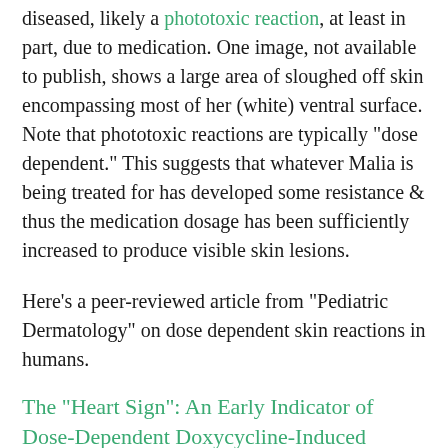diseased, likely a phototoxic reaction, at least in part, due to medication. One image, not available to publish, shows a large area of sloughed off skin encompassing most of her (white) ventral surface. Note that phototoxic reactions are typically "dose dependent." This suggests that whatever Malia is being treated for has developed some resistance & thus the medication dosage has been sufficiently increased to produce visible skin lesions.
Here's a peer-reviewed article from "Pediatric Dermatology" on dose dependent skin reactions in humans.
The "Heart Sign": An Early Indicator of Dose-Dependent Doxycycline-Induced Phototoxicity.
Phototoxicity tends to attack areas that lack